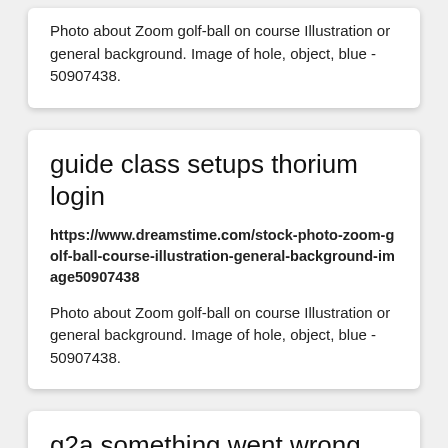Photo about Zoom golf-ball on course Illustration or general background. Image of hole, object, blue - 50907438.
guide class setups thorium login
https://www.dreamstime.com/stock-photo-zoom-golf-ball-course-illustration-general-background-image50907438
Photo about Zoom golf-ball on course Illustration or general background. Image of hole, object, blue - 50907438.
g2a something went wrong login
https://www.dreamstime.com/stock-photo-zoom-golf-ball-course-illustration-general-background-